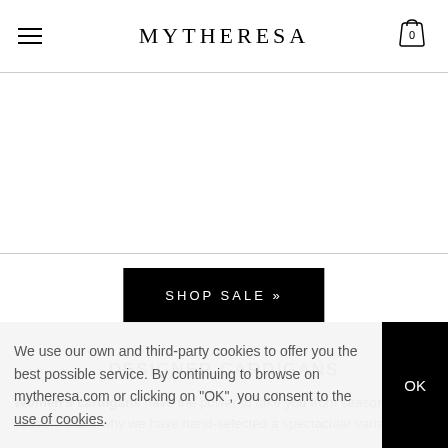MYTHERESA
[Figure (other): White banner/image area with border top and bottom]
SHOP SALE »
DESIGNER CARDIGANS
Women's cardigans have the power to take you from season to season, that's why we have hand-selected a spectacular variation of
We use our own and third-party cookies to offer you the best possible service. By continuing to browse on mytheresa.com or clicking on "OK", you consent to the use of cookies.